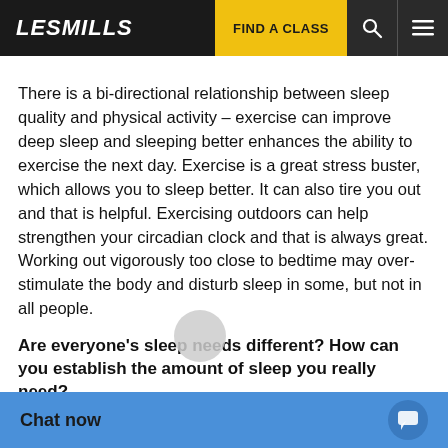LES MILLS | FIND A CLASS
There is a bi-directional relationship between sleep quality and physical activity – exercise can improve deep sleep and sleeping better enhances the ability to exercise the next day. Exercise is a great stress buster, which allows you to sleep better. It can also tire you out and that is helpful. Exercising outdoors can help strengthen your circadian clock and that is always great. Working out vigorously too close to bedtime may over-stimulate the body and disturb sleep in some, but not in all people.
Are everyone's sleep needs different? How can you establish the amount of sleep you really need?
Although there is some genetic variation, to function optimally most adults need between seven and nine hours of sleep per 24-h... determining your sleep...